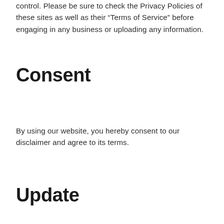control. Please be sure to check the Privacy Policies of these sites as well as their “Terms of Service” before engaging in any business or uploading any information.
Consent
By using our website, you hereby consent to our disclaimer and agree to its terms.
Update